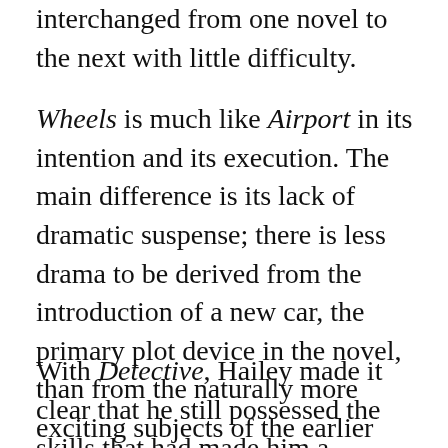interchanged from one novel to the next with little difficulty.
Wheels is much like Airport in its intention and its execution. The main difference is its lack of dramatic suspense; there is less drama to be derived from the introduction of a new car, the primary plot device in the novel, than from the naturally more exciting subjects of the earlier novels.
With Detective, Hailey made it clear that he still possessed the skills that had made him a bestselling author in preceding decades. The novel also showed that Hailey had changed with the times, departing from